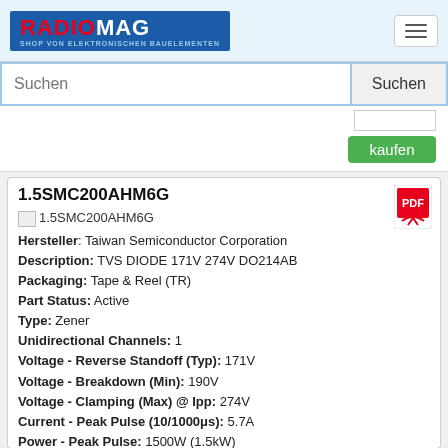RADIOMAG - SHOP VON ELEKTRONISCHEN BAUELEMENTEN
Suchen
[Figure (other): kaufen button with quantity input]
1.5SMC200AHM6G
[Figure (illustration): 1.5SMC200AHM6G product image placeholder]
Hersteller: Taiwan Semiconductor Corporation
Description: TVS DIODE 171V 274V DO214AB
Packaging: Tape & Reel (TR)
Part Status: Active
Type: Zener
Unidirectional Channels: 1
Voltage - Reverse Standoff (Typ): 171V
Voltage - Breakdown (Min): 190V
Voltage - Clamping (Max) @ Ipp: 274V
Current - Peak Pulse (10/1000μs): 5.7A
Power - Peak Pulse: 1500W (1.5kW)
Power Line Protection: No
Applications: Automotive
Operating Temperature: -55°C ~ 150°C (TJ)
Mounting Type: Surface Mount
Package / Case: DO-214AB, SMC
Supplier Device Package: DO-214AB (SMC)